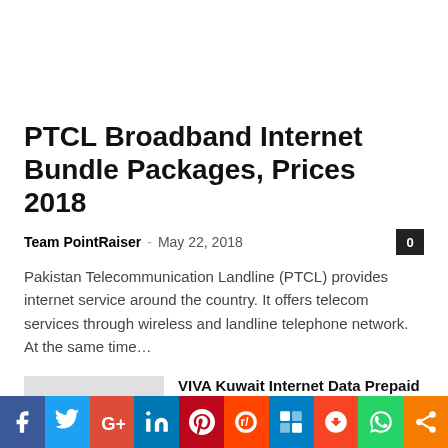PTCL Broadband Internet Bundle Packages, Prices 2018
Team PointRaiser · May 22, 2018
Pakistan Telecommunication Landline (PTCL) provides internet service around the country. It offers telecom services through wireless and landline telephone network. At the same time...
VIVA Kuwait Internet Data Prepaid Packages
April 24, 2021
Zain Prepaid Kareeb Mobile Package Details,